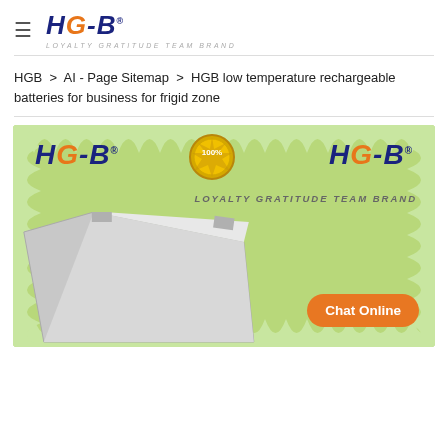HGB — LOYALTY GRATITUDE TEAM BRAND
HGB > AI - Page Sitemap > HGB low temperature rechargeable batteries for business for frigid zone
[Figure (photo): HGB brand banner with green scalloped border, two HGB logos, 100% quality badge, loyalty gratitude team brand tagline, and a lithium battery product image. Chat Online button in bottom right corner.]